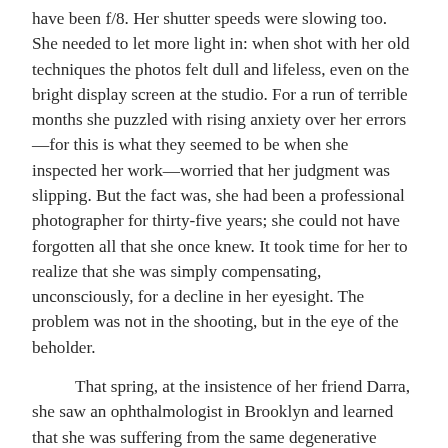have been f/8. Her shutter speeds were slowing too. She needed to let more light in: when shot with her old techniques the photos felt dull and lifeless, even on the bright display screen at the studio. For a run of terrible months she puzzled with rising anxiety over her errors—for this is what they seemed to be when she inspected her work—worried that her judgment was slipping. But the fact was, she had been a professional photographer for thirty-five years; she could not have forgotten all that she once knew. It took time for her to realize that she was simply compensating, unconsciously, for a decline in her eyesight. The problem was not in the shooting, but in the eye of the beholder.

That spring, at the insistence of her friend Darra, she saw an ophthalmologist in Brooklyn and learned that she was suffering from the same degenerative disease that had blinded her mother at forty-two. It seemed that a tiny defect in her rods and cones was destroying her ability to do what she loved most. She knew without being told—knew as an article of primitive belief—that there would